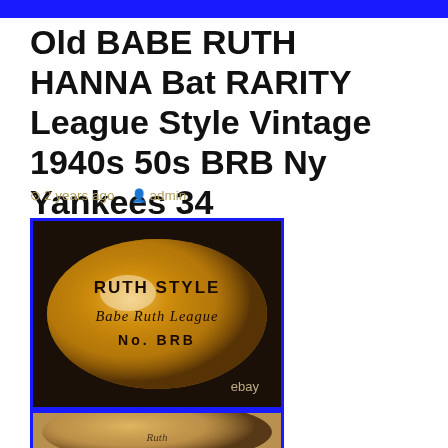[Figure (photo): Top blue image bar / banner at the very top of the page]
Old BABE RUTH HANNA Bat RARITY League Style Vintage 1940s 50s BRB Ny Yankees 34
2 years ago  admin
[Figure (photo): Close-up photo of a wooden baseball bat showing text: RUTH STYLE / Babe Ruth League / No. BRB, with ebay watermark in lower right. Bat has warm golden-brown wood grain. Blue border frame.]
[Figure (photo): Partially visible second photo of the same bat, cut off at bottom of page. Blue border frame.]